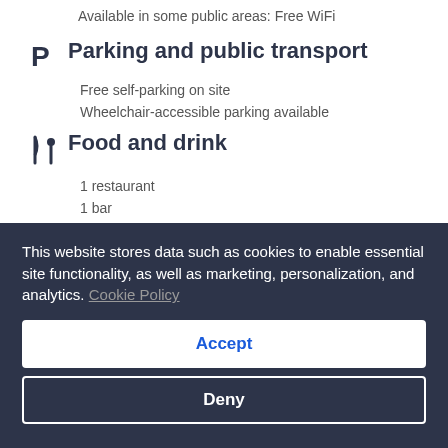Available in some public areas: Free WiFi
Parking and public transport
Free self-parking on site
Wheelchair-accessible parking available
Food and drink
1 restaurant
1 bar
Things to do
This website stores data such as cookies to enable essential site functionality, as well as marketing, personalization, and analytics. Cookie Policy
Accept
Deny